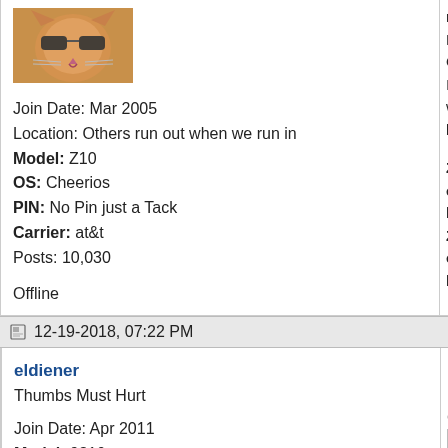[Figure (photo): Cat avatar photo - orange/tabby cat with sunglasses]
Join Date: Mar 2005
Location: Others run out when we run in
Model: Z10
OS: Cheerios
PIN: No Pin just a Tack
Carrier: at&t
Posts: 10,030
Offline
Z10 on b...
Z10 on b...
12-19-2018, 07:22 PM
eldiener
Thumbs Must Hurt
Join Date: Apr 2011
Model: 9810
OS: 7.1.0.714
PIN: N/A
Carrier: AT&T
Posts: 63
Re: S
Quote:
Orig...
Poss...
in op...
They...
dele...
wou...